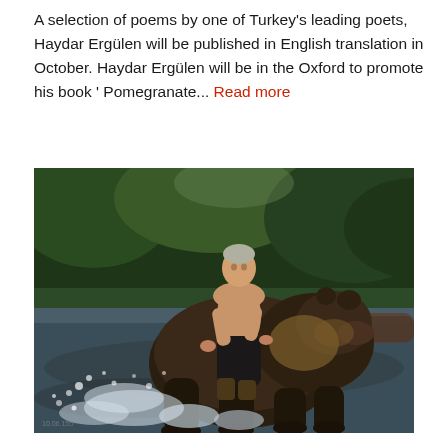A selection of poems by one of Turkey's leading poets, Haydar Ergülen will be published in English translation in October. Haydar Ergülen will be in the Oxford to promote his book ' Pomegranate... Read more
[Figure (photo): A shirtless man riding on the back of a large brown bear splashing through water, with green forest in the background.]